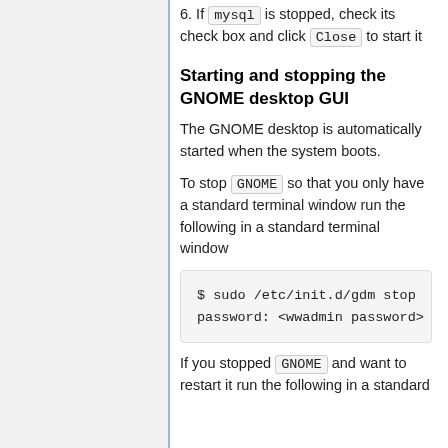6. If mysql is stopped, check its check box and click Close to start it
Starting and stopping the GNOME desktop GUI
The GNOME desktop is automatically started when the system boots.
To stop GNOME so that you only have a standard terminal window run the following in a standard terminal window
$ sudo /etc/init.d/gdm stop
password: <wwadmin password>
If you stopped GNOME and want to restart it run the following in a standard